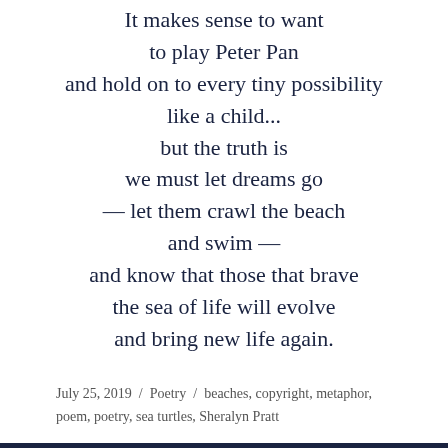It makes sense to want
to play Peter Pan
and hold on to every tiny possibility
like a child...
but the truth is
we must let dreams go
— let them crawl the beach
and swim —
and know that those that brave
the sea of life will evolve
and bring new life again.
July 25, 2019 / Poetry / beaches, copyright, metaphor, poem, poetry, sea turtles, Sheralyn Pratt